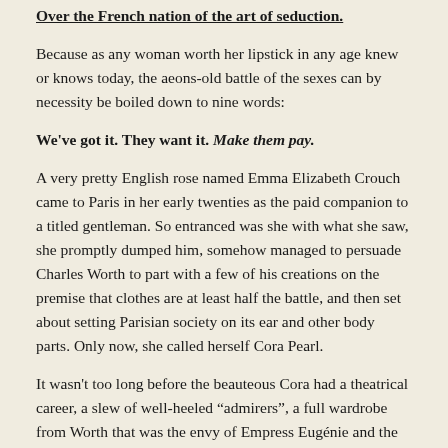Over the French nation of the art of seduction.
Because as any woman worth her lipstick in any age knew or knows today, the aeons-old battle of the sexes can by necessity be boiled down to nine words:
We've got it. They want it. Make them pay.
A very pretty English rose named Emma Elizabeth Crouch came to Paris in her early twenties as the paid companion to a titled gentleman. So entranced was she with what she saw, she promptly dumped him, somehow managed to persuade Charles Worth to part with a few of his creations on the premise that clothes are at least half the battle, and then set about setting Parisian society on its ear and other body parts. Only now, she called herself Cora Pearl.
It wasn't too long before the beauteous Cora had a theatrical career, a slew of well-heeled “admirers”, a full wardrobe from Worth that was the envy of Empress Eugénie and the very last word on decadence. She is said to have been served as dessert covered in cream in a fashionable restaurant, to have danced naked on a carpet of orchids, and also that she once literally bathed in a silver bathtub full of champagne at dinner parties.